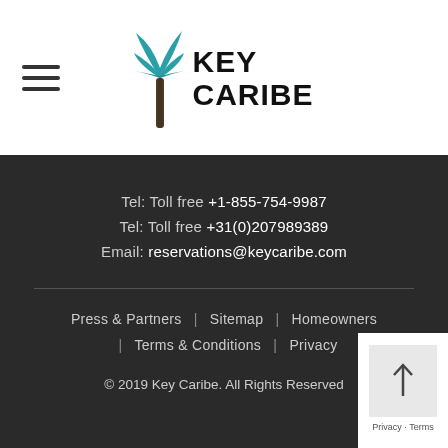[Figure (logo): Key Caribe logo with palm tree icon and bold text KEY CARIBE]
Tel: Toll free +1-855-754-9987
Tel: Toll free +31(0)207989389
Email: reservations@keycaribe.com
Press & Partners | Sitemap | Homeowners | Terms & Conditions | Privacy © 2019 Key Caribe. All Rights Reserved